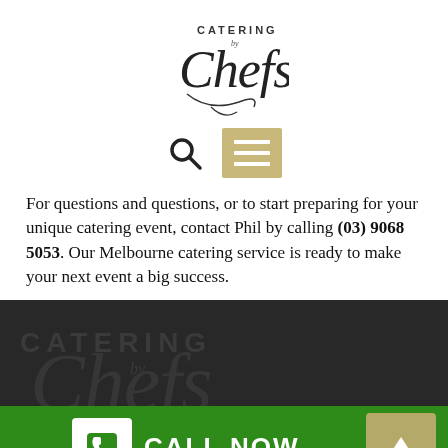[Figure (logo): Catering by Chefs script logo with decorative swashes, dark ink on white background]
[Figure (infographic): Navigation row with search icon (magnifying glass) and tan/gold hamburger menu button]
For questions and questions, or to start preparing for your unique catering event, contact Phil by calling (03) 9068 5053. Our Melbourne catering service is ready to make your next event a big success.
[Figure (logo): Dark background footer band with faded Catering by Chefs logo watermark in dark gray]
[Figure (infographic): Green call-to-action bar with white phone icon box, CALL NOW text, and tan up-arrow button]